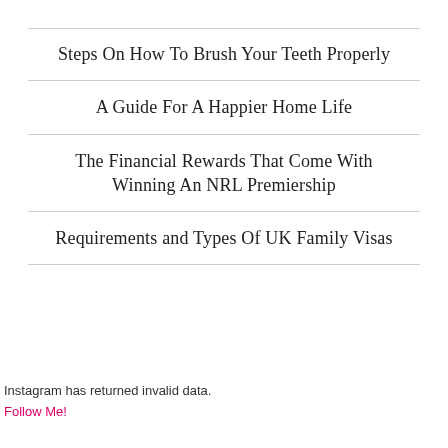Steps On How To Brush Your Teeth Properly
A Guide For A Happier Home Life
The Financial Rewards That Come With Winning An NRL Premiership
Requirements and Types Of UK Family Visas
Instagram has returned invalid data.
Follow Me!